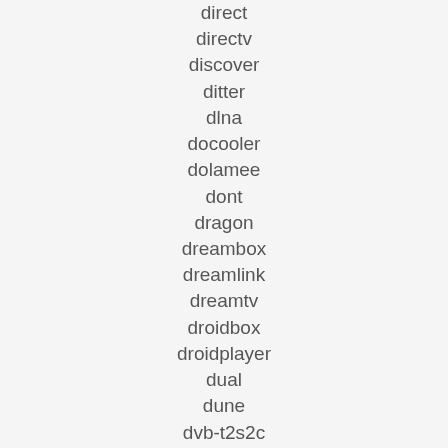direct
directv
discover
ditter
dlna
docooler
dolamee
dont
dragon
dreambox
dreamlink
dreamtv
droidbox
droidplayer
dual
dune
dvb-t2s2c
dynalink
eachlink
easytone
edal